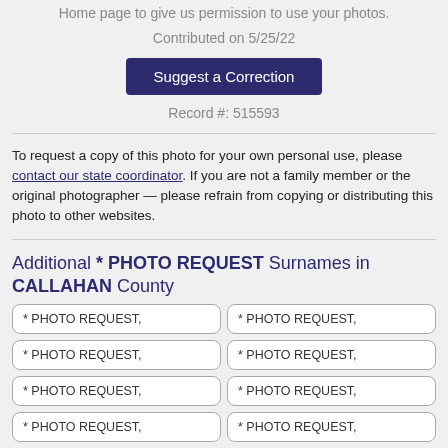Home page to give us permission to use your photos.
Contributed on 5/25/22
Suggest a Correction
Record #: 515593
To request a copy of this photo for your own personal use, please contact our state coordinator. If you are not a family member or the original photographer — please refrain from copying or distributing this photo to other websites.
Additional * PHOTO REQUEST Surnames in CALLAHAN County
* PHOTO REQUEST,
* PHOTO REQUEST,
* PHOTO REQUEST,
* PHOTO REQUEST,
* PHOTO REQUEST,
* PHOTO REQUEST,
* PHOTO REQUEST,
* PHOTO REQUEST,